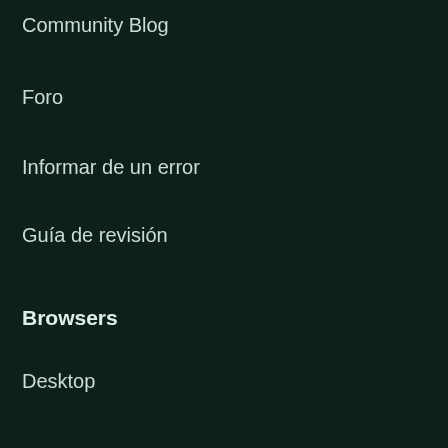Community Blog
Foro
Informar de un error
Guía de revisión
Browsers
Desktop
Mobile
Enterprise
Productos
Browsers